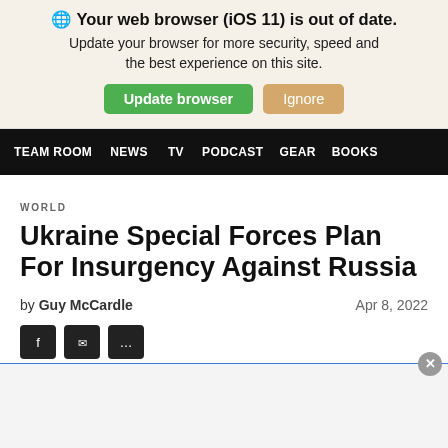🌐 Your web browser (iOS 11) is out of date. Update your browser for more security, speed and the best experience on this site. Update browser Ignore
TEAM ROOM  NEWS  TV  PODCAST  GEAR  BOOKS
WORLD
Ukraine Special Forces Plan For Insurgency Against Russia
by Guy McCardle   Apr 8, 2022